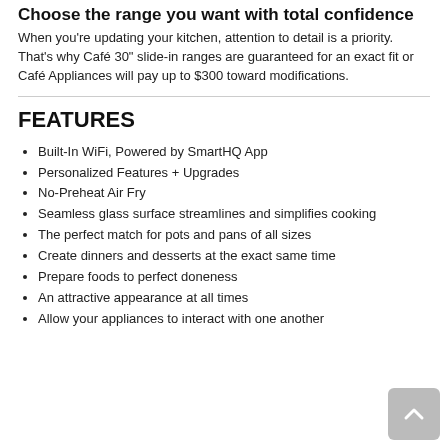Choose the range you want with total confidence
When you're updating your kitchen, attention to detail is a priority. That's why Café 30" slide-in ranges are guaranteed for an exact fit or Café Appliances will pay up to $300 toward modifications.
FEATURES
Built-In WiFi, Powered by SmartHQ App
Personalized Features + Upgrades
No-Preheat Air Fry
Seamless glass surface streamlines and simplifies cooking
The perfect match for pots and pans of all sizes
Create dinners and desserts at the exact same time
Prepare foods to perfect doneness
An attractive appearance at all times
Allow your appliances to interact with one another